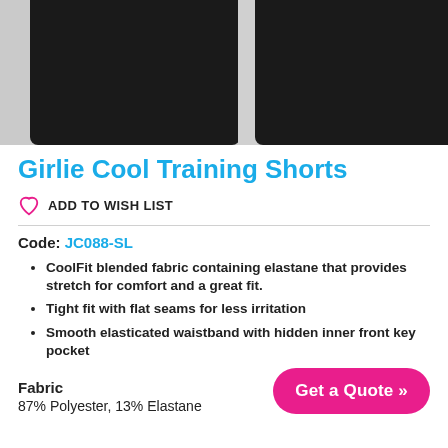[Figure (photo): Close-up photo of black training shorts laid flat, showing two leg openings separated by a gap, with light grey background.]
Girlie Cool Training Shorts
ADD TO WISH LIST
Code: JC088-SL
CoolFit blended fabric containing elastane that provides stretch for comfort and a great fit.
Tight fit with flat seams for less irritation
Smooth elasticated waistband with hidden inner front key pocket
Fabric
87% Polyester, 13% Elastane
Get a Quote »